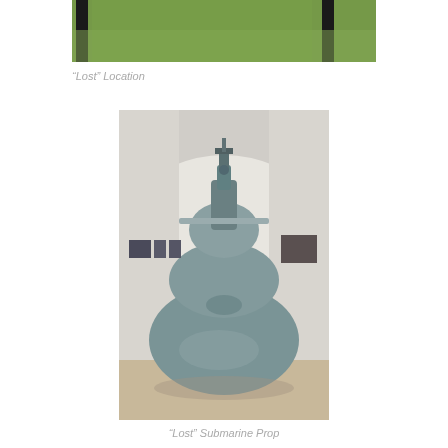[Figure (photo): Partial photo showing green grass and dark fence/pole elements at top of page]
“Lost” Location
[Figure (photo): Photo of a submarine prop displayed in a white-walled gallery/bunker room. The grey-green submarine model sits on a concrete floor under an arched ceiling, with photographs mounted on the white walls on both sides.]
“Lost” Submarine Prop